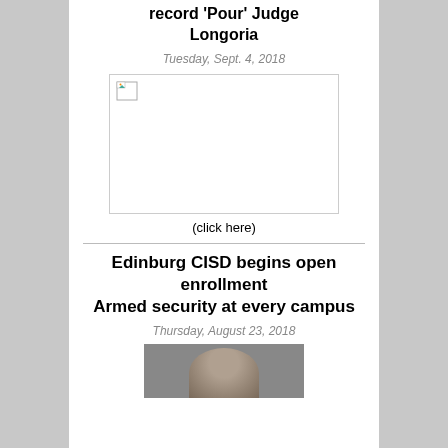record 'Pour' Judge Longoria
Tuesday, Sept. 4, 2018
[Figure (photo): Broken/missing image placeholder with border]
(click here)
Edinburg CISD begins open enrollment Armed security at every campus
Thursday, August 23, 2018
[Figure (photo): Partial photo of a person's head, cropped at bottom of page]